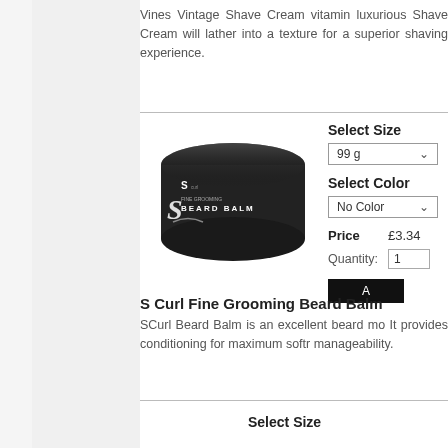Vines Vintage Shave Cream vitamin luxurious Shave Cream will lather into a texture for a superior shaving experience.
[Figure (photo): S Curl Fine Grooming Beard Balm product in a round black tin container]
Select Size
99 g
Select Color
No Color
Price £3.34
Quantity: 1
S Curl Fine Grooming Beard Balm
SCurl Beard Balm is an excellent beard mo It provides conditioning for maximum softr manageability.
Select Size